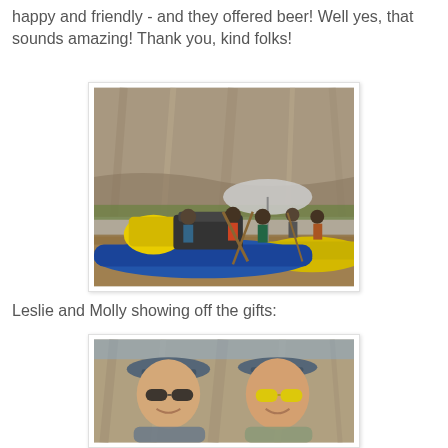happy and friendly - and they offered beer!  Well yes, that sounds amazing!  Thank you, kind folks!
[Figure (photo): Group of people on blue rafts on a muddy river with canyon rock wall behind them. Gear piled on rafts, people in sunglasses and outdoor clothing.]
Leslie and Molly showing off the gifts:
[Figure (photo): Two women smiling, wearing sunglasses and hats, with a canyon rock wall behind them.]